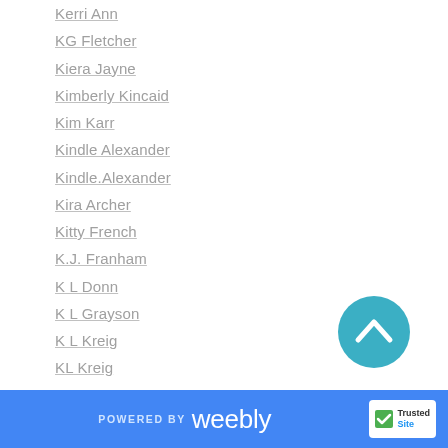Kerri Ann
KG Fletcher
Kiera Jayne
Kimberly Kincaid
Kim Karr
Kindle Alexander
Kindle.Alexander
Kira Archer
Kitty French
K.J. Franham
K L Donn
K L Grayson
K L Kreig
KL Kreig
K.L. Myers
KM Lowe
Kolleen Fraser
[Figure (other): Teal circular scroll-to-top button with upward chevron arrow]
POWERED BY weebly | TrustedSite